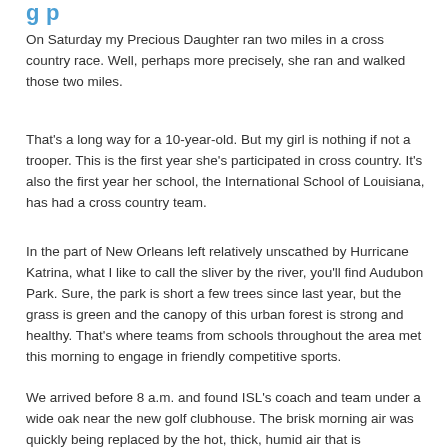g p
On Saturday my Precious Daughter ran two miles in a cross country race. Well, perhaps more precisely, she ran and walked those two miles.
That's a long way for a 10-year-old. But my girl is nothing if not a trooper. This is the first year she's participated in cross country. It's also the first year her school, the International School of Louisiana, has had a cross country team.
In the part of New Orleans left relatively unscathed by Hurricane Katrina, what I like to call the sliver by the river, you'll find Audubon Park. Sure, the park is short a few trees since last year, but the grass is green and the canopy of this urban forest is strong and healthy. That's where teams from schools throughout the area met this morning to engage in friendly competitive sports.
We arrived before 8 a.m. and found ISL's coach and team under a wide oak near the new golf clubhouse. The brisk morning air was quickly being replaced by the hot, thick, humid air that is quintessentially New Orleans. Elsewhere